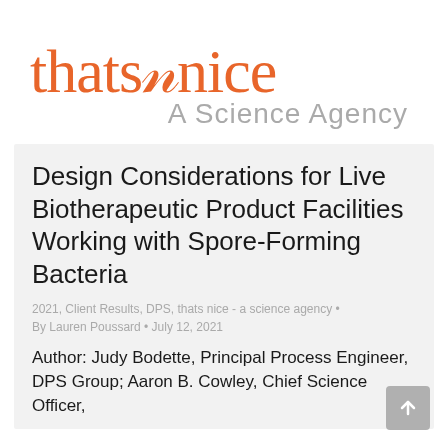[Figure (logo): thats nice A Science Agency logo with orange serif wordmark and grey subtitle]
Design Considerations for Live Biotherapeutic Product Facilities Working with Spore-Forming Bacteria
2021, Client Results, DPS, thats nice - a science agency • By Lauren Poussard • July 12, 2021
Author: Judy Bodette, Principal Process Engineer, DPS Group; Aaron B. Cowley, Chief Science Officer,